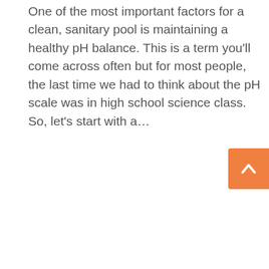One of the most important factors for a clean, sanitary pool is maintaining a healthy pH balance. This is a term you'll come across often but for most people, the last time we had to think about the pH scale was in high school science class. So, let's start with a…